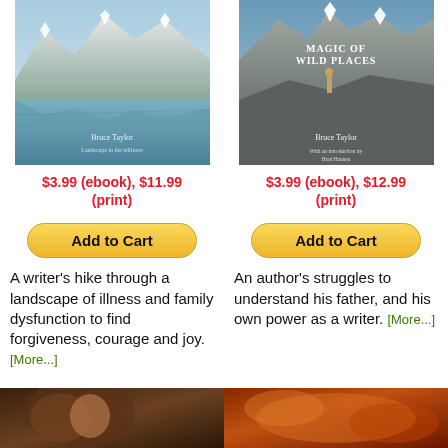[Figure (photo): Book cover of a mountain landscape with lake reflection by Bruce Taylor]
$3.99 (ebook), $11.99 (print)
[Figure (other): Add to Cart button]
A writer's hike through a landscape of illness and family dysfunction to find forgiveness, courage and joy. [More...]
[Figure (photo): Book cover: Magic of Wild Places by Bruce Taylor, with mountain landscape and hiker]
$3.99 (ebook), $12.99 (print)
[Figure (other): Add to Cart button]
An author's struggles to understand his father, and his own power as a writer. [More...]
[Figure (photo): Partial book cover thumbnail at bottom left]
[Figure (photo): Partial book cover thumbnail at bottom right]